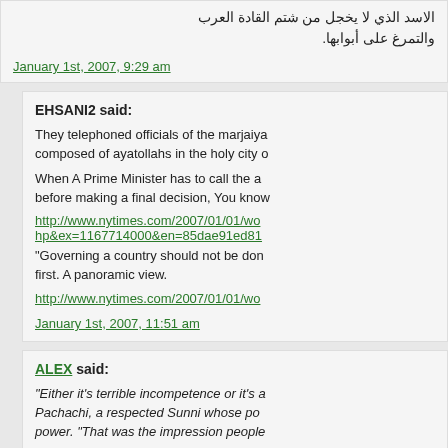الاسد الذي لا يخجل من شتم القادة العرب والتمرغ على أبوابها.
January 1st, 2007, 9:29 am
EHSANI2 said:
They telephoned officials of the marjaiya composed of ayatollahs in the holy city
When A Prime Minister has to call the a before making a final decision, You kno
http://www.nytimes.com/2007/01/01/wo hp&ex=1167714000&en=85dae91ed81
“Governing a country should not be don first. A panoramic view.
http://www.nytimes.com/2007/01/01/wo
January 1st, 2007, 11:51 am
ALEX said:
“Either it’s terrible incompetence or it’s a Pachachi, a respected Sunni whose po power. “That was the impression people
And that impression of “terrible incompe Baghdad fell to the American Army and its priceless contents….